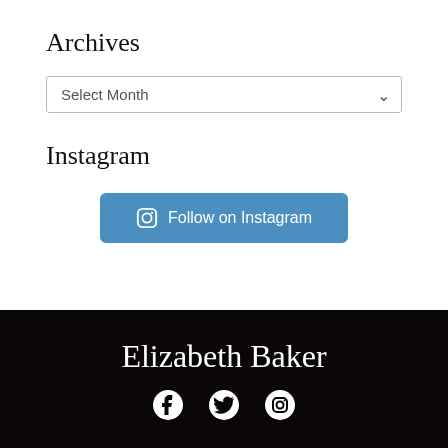Archives
[Figure (other): A dropdown select box labeled 'Select Month' with a chevron arrow on the right]
Instagram
[Figure (other): A blue rounded button with Instagram camera icon and text 'Follow on Instagram']
Elizabeth Baker
[Figure (other): Three white social media icons: Facebook, Twitter, Instagram]